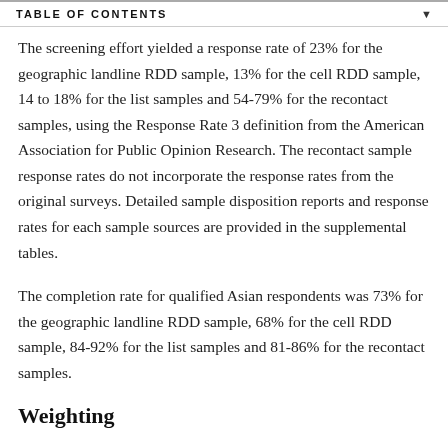TABLE OF CONTENTS
The screening effort yielded a response rate of 23% for the geographic landline RDD sample, 13% for the cell RDD sample, 14 to 18% for the list samples and 54-79% for the recontact samples, using the Response Rate 3 definition from the American Association for Public Opinion Research. The recontact sample response rates do not incorporate the response rates from the original surveys. Detailed sample disposition reports and response rates for each sample sources are provided in the supplemental tables.
The completion rate for qualified Asian respondents was 73% for the geographic landline RDD sample, 68% for the cell RDD sample, 84-92% for the list samples and 81-86% for the recontact samples.
Weighting